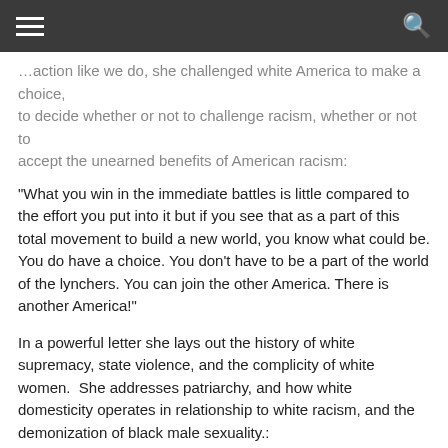[navigation bar with hamburger menu and search icon]
…action like we do, she challenged white America to make a choice, to decide whether or not to challenge racism, whether or not to accept the unearned benefits of American racism:
“What you win in the immediate battles is little compared to the effort you put into it but if you see that as a part of this total movement to build a new world, you know what could be. You do have a choice. You don't have to be a part of the world of the lynchers. You can join the other America. There is another America!”
In a powerful letter she lays out the history of white supremacy, state violence, and the complicity of white women.  She addresses patriarchy, and how white domesticity operates in relationship to white racism, and the demonization of black male sexuality.:
I believe that no white woman reared in the South-or perhaps anywhere in this racist country – can find freedom as a woman until she deals in her own